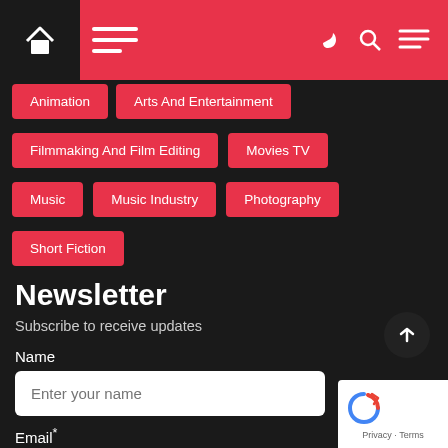Home / Menu / Dark mode / Search / Settings
Animation
Arts And Entertainment
Filmmaking And Film Editing
Movies TV
Music
Music Industry
Photography
Short Fiction
Newsletter
Subscribe to receive updates
Name
Enter your name
Email*
Enter your email address
Subscribe